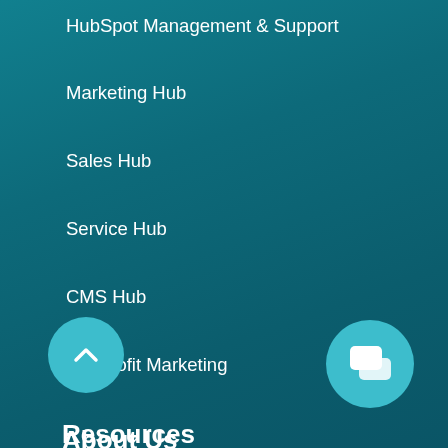HubSpot Management & Support
Marketing Hub
Sales Hub
Service Hub
CMS Hub
Nonprofit Marketing
About Us
Meet Digital Reach
Join The Team
Contact Us
Resources